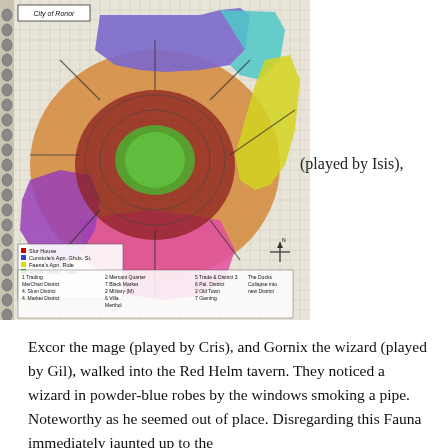[Figure (map): Hand-drawn fantasy city map labeled 'City of Ronor' on graph paper, showing colored districts (orange, purple, pink, blue, cyan, yellow, green) in a roughly circular/concentric layout with a legend at the bottom listing numbered districts including 'The Docks', 'Market District', 'Slum District', 'Merchant Quarter', and others. A compass rose appears at lower right.]
(played by Isis),
Excor the mage (played by Cris), and Gornix the wizard (played by Gil), walked into the Red Helm tavern. They noticed a wizard in powder-blue robes by the windows smoking a pipe. Noteworthy as he seemed out of place. Disregarding this Fauna immediately jaunted up to the